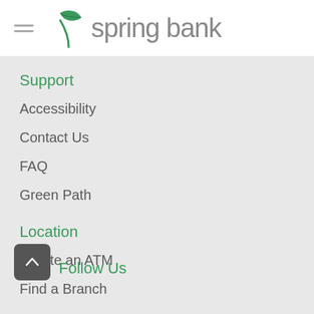[Figure (logo): Spring Bank logo with green leaf icon and gray text 'spring bank', with hamburger menu icon on the left]
Support
Accessibility
Contact Us
FAQ
Green Path
Location
Locate an ATM
Find a Branch
Follow Us